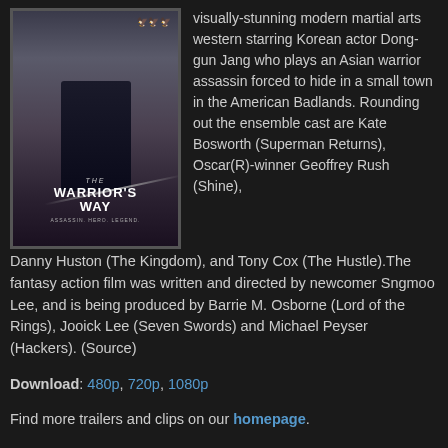[Figure (photo): Movie poster for 'The Warrior's Way' showing a dark-hooded warrior figure with birds in the background and a sword]
visually-stunning modern martial arts western starring Korean actor Dong-gun Jang who plays an Asian warrior assassin forced to hide in a small town in the American Badlands. Rounding out the ensemble cast are Kate Bosworth (Superman Returns), Oscar(R)-winner Geoffrey Rush (Shine), Danny Huston (The Kingdom), and Tony Cox (The Hustle).The fantasy action film was written and directed by newcomer Sngmoo Lee, and is being produced by Barrie M. Osborne (Lord of the Rings), Jooick Lee (Seven Swords) and Michael Peyser (Hackers). (Source)
Download: 480p, 720p, 1080p
Find more trailers and clips on our homepage.